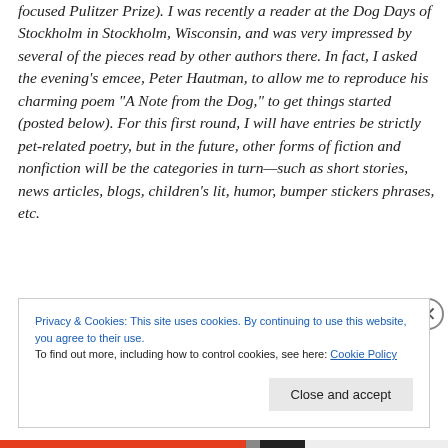focused Pulitzer Prize). I was recently a reader at the Dog Days of Stockholm in Stockholm, Wisconsin, and was very impressed by several of the pieces read by other authors there. In fact, I asked the evening’s emcee, Peter Hautman, to allow me to reproduce his charming poem “A Note from the Dog,” to get things started (posted below). For this first round, I will have entries be strictly pet-related poetry, but in the future, other forms of fiction and nonfiction will be the categories in turn—such as short stories, news articles, blogs, children’s lit, humor, bumper stickers phrases, etc.
Privacy & Cookies: This site uses cookies. By continuing to use this website, you agree to their use.
To find out more, including how to control cookies, see here: Cookie Policy